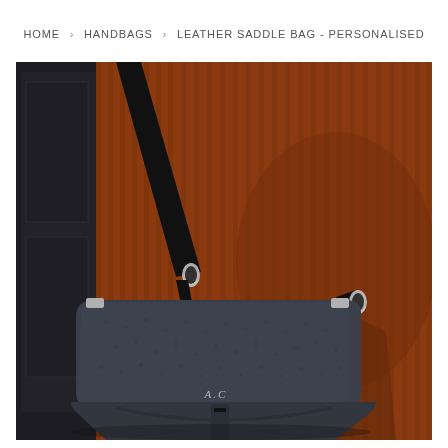HOME › HANDBAGS › LEATHER SADDLE BAG - PERSONALISED
[Figure (photo): A person wearing a rust/burnt-orange ribbed knit sweater, carrying a dark navy/grey pebbled leather saddle bag with personalised initials 'A.C' embossed on the flap, with a black adjustable crossbody strap and silver hardware clasps.]